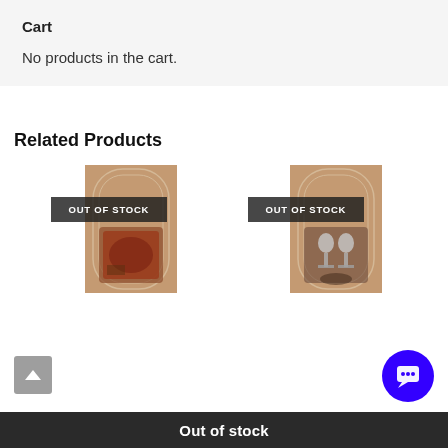Cart
No products in the cart.
Related Products
[Figure (photo): Product image with arch design, labeled OUT OF STOCK]
[Figure (photo): Product image with arch design and wine glasses, labeled OUT OF STOCK]
Out of stock